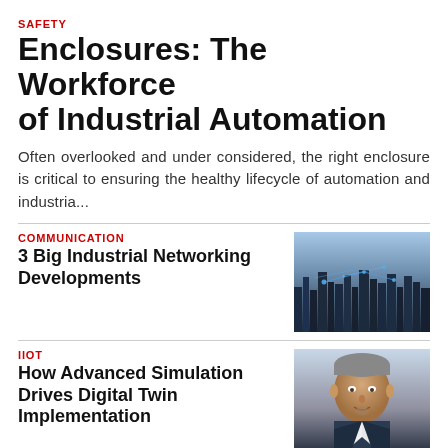SAFETY
Enclosures: The Workforce of Industrial Automation
Often overlooked and under considered, the right enclosure is critical to ensuring the healthy lifecycle of automation and industria...
COMMUNICATION
3 Big Industrial Networking Developments
[Figure (photo): Aerial view of industrial cityscape with glowing network connection lines at night, blue-toned.]
IIOT
How Advanced Simulation Drives Digital Twin Implementation
[Figure (photo): Portrait photo of a middle-aged man smiling, wearing a suit, with short grey hair and a goatee.]